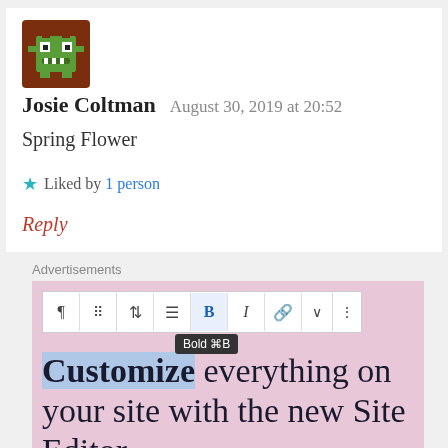[Figure (illustration): Pixel art avatar of a monster character in brown and green colors]
Josie Coltman   August 30, 2019 at 20:52
Spring Flower
★ Liked by 1 person
Reply
Advertisements
[Figure (screenshot): WordPress.com advertisement showing a text editor toolbar with Bold tooltip, text reading 'Customize everything on your site with the new Site Editor.' with a Start Today button and WordPress.com logo at the bottom.]